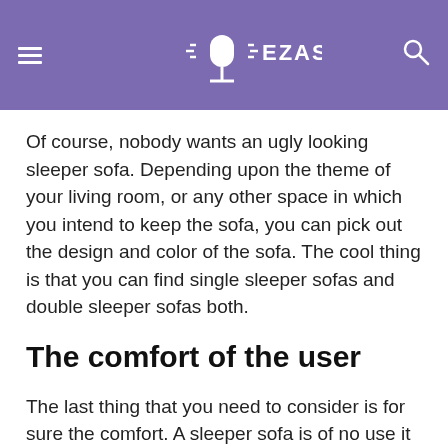EZASMR
Of course, nobody wants an ugly looking sleeper sofa. Depending upon the theme of your living room, or any other space in which you intend to keep the sofa, you can pick out the design and color of the sofa. The cool thing is that you can find single sleeper sofas and double sleeper sofas both.
The comfort of the user
The last thing that you need to consider is for sure the comfort. A sleeper sofa is of no use it is not comfortable. You could rather sleep on the floor with a mattress. The sleeper sofa must give you the comfort of a bed and you should be able to get a good night's sleep.
Most people who have small spaces also